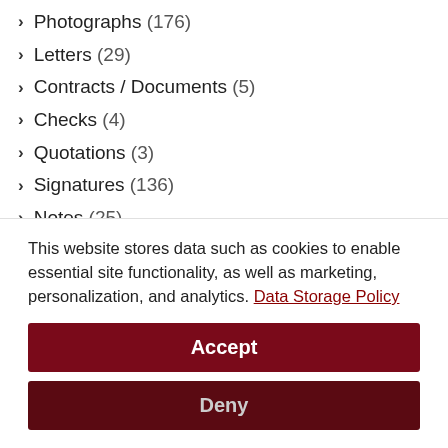Photographs (176)
Letters (29)
Contracts / Documents (5)
Checks (4)
Quotations (3)
Signatures (136)
Notes (25)
Ephemera (10)
Baseballs (8)
Baseball Bats (1)
Sports Cards (32)
Apparel (20)
Hats (2)
This website stores data such as cookies to enable essential site functionality, as well as marketing, personalization, and analytics. Data Storage Policy
Accept
Deny